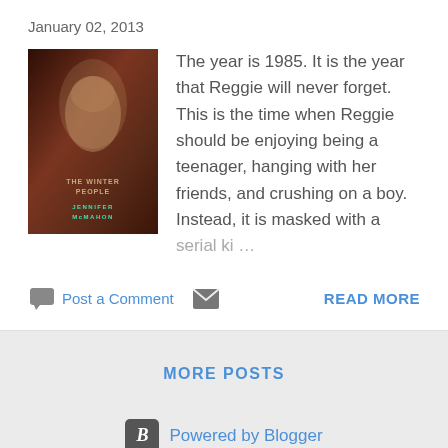January 02, 2013
[Figure (illustration): Book cover: dark red/brown background with a woman's face, titled with Jennifer McMahon's book]
The year is 1985. It is the year that Reggie will never forget. This is the time when Reggie should be enjoying being a teenager, hanging with her friends, and crushing on a boy. Instead, it is masked with a serial ki...
Post a Comment
READ MORE
MORE POSTS
Powered by Blogger
Theme images by Michael Elkan